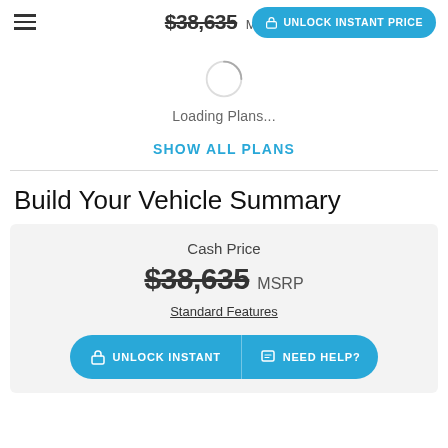$38,635 MSRP  UNLOCK INSTANT PRICE
[Figure (illustration): Loading spinner circle (partial arc indicating loading animation)]
Loading Plans...
SHOW ALL PLANS
Build Your Vehicle Summary
Cash Price
$38,635 MSRP
Standard Features
UNLOCK INSTANT   NEED HELP?